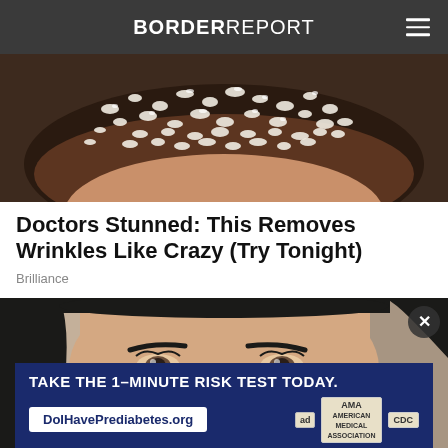BORDER REPORT
[Figure (photo): Close-up photo of what appears to be a dark chocolate brownie or food item covered in coarse white salt crystals or sugar]
Doctors Stunned: This Removes Wrinkles Like Crazy (Try Tonight)
Brilliance
[Figure (photo): Close-up photo of a woman with dark hair applying a white product or cloth near her nose/eye area, shown from forehead to chin]
TAKE THE 1-MINUTE RISK TEST TODAY. DolHavePrediabetes.org